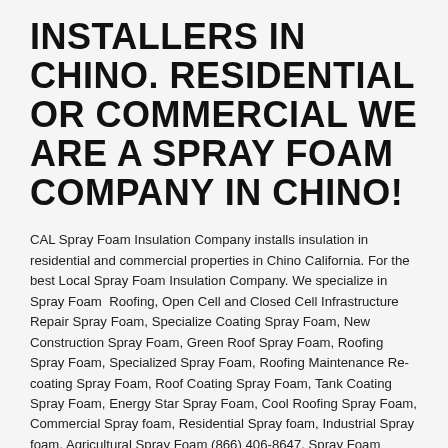INSTALLERS IN CHINO. RESIDENTIAL OR COMMERCIAL WE ARE A SPRAY FOAM COMPANY IN CHINO!
CAL Spray Foam Insulation Company installs insulation in residential and commercial properties in Chino California. For the best Local Spray Foam Insulation Company. We specialize in Spray Foam  Roofing, Open Cell and Closed Cell Infrastructure Repair Spray Foam, Specialize Coating Spray Foam, New Construction Spray Foam, Green Roof Spray Foam, Roofing Spray Foam, Specialized Spray Foam, Roofing Maintenance Re-coating Spray Foam, Roof Coating Spray Foam, Tank Coating Spray Foam, Energy Star Spray Foam, Cool Roofing Spray Foam, Commercial Spray foam, Residential Spray foam, Industrial Spray foam, Agricultural Spray Foam (866) 406-8647. Spray Foam Company in Chino California,Foam Installation Company in Chino California,Spray Polyurethane